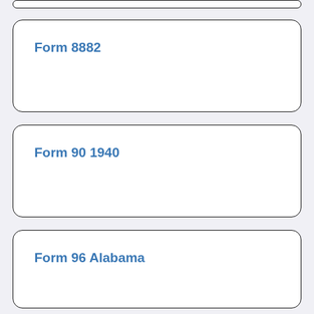Form 8882
Form 90 1940
Form 96 Alabama